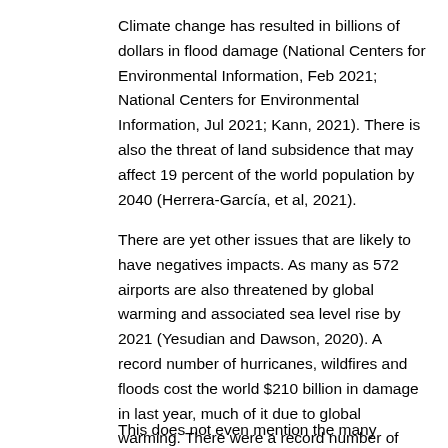Climate change has resulted in billions of dollars in flood damage (National Centers for Environmental Information, Feb 2021; National Centers for Environmental Information, Jul 2021; Kann, 2021). There is also the threat of land subsidence that may affect 19 percent of the world population by 2040 (Herrera-García, et al, 2021).
There are yet other issues that are likely to have negatives impacts. As many as 572 airports are also threatened by global warming and associated sea level rise by 2021 (Yesudian and Dawson, 2020). A record number of hurricanes, wildfires and floods cost the world $210 billion in damage in last year, much of it due to global warming. There were a record number of disasters during 2020 which occurred in the U.S. (NOAA, 2021).
This does not even mention the many negative